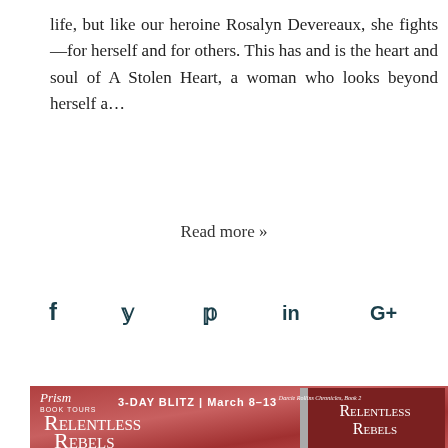life, but like our heroine Rosalyn Devereaux, she fights—for herself and for others. This has and is the heart and soul of A Stolen Heart, a woman who looks beyond herself a…
Read more »
[Figure (infographic): Social media sharing icons: Facebook (f), Twitter (bird/y), Pinterest (P), LinkedIn (in), Google+ (G+) in dark teal color]
[Figure (photo): Banner for Relentless Rebels book blitz. Red/pink textured background. Top left: Prism Book Tours logo and '3-DAY BLITZ | March 8-13' text. Large white text reads 'RELENTLESS REBELS' in small caps on the left. Right side shows a 3D book cover for 'Relentless Rebels' (Darcie Rollins Chronicles, Book 2) with a wolf image.]